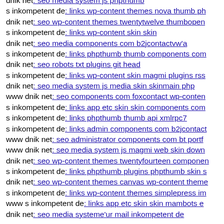dnik net: seo media system js phpthumb
s inkompetent de: links wp-content themes nova thumb ph
dnik net: seo wp-content themes twentytwelve thumbopen
s inkompetent de: links wp-content skin skin
dnik net: seo media components com b2jcontactvw'a
s inkompetent de: links phpthumb thumb components com
dnik net: seo robots txt plugins git head
s inkompetent de: links wp-content skin magmi plugins rss
dnik net: seo media system js media skin skinmain php
www dnik net: seo components com foxcontact wp-conten
s inkompetent de: links app etc skin skin components com
s inkompetent de: links phpthumb thumb api xmlrpc7
s inkompetent de: links admin components com b2jcontact
www dnik net: seo administrator components com bt portf
www dnik net: seo media system js magmi web skin down
dnik net: seo wp-content themes twentyfourteen componen
s inkompetent de: links phpthumb plugins phpthumb skin s
dnik net: seo wp-content themes canvas wp-content theme
s inkompetent de: links wp-content themes simplepress im
www s inkompetent de: links app etc skin skin mambots e
dnik net: seo media systeme'ur mail inkompetent de